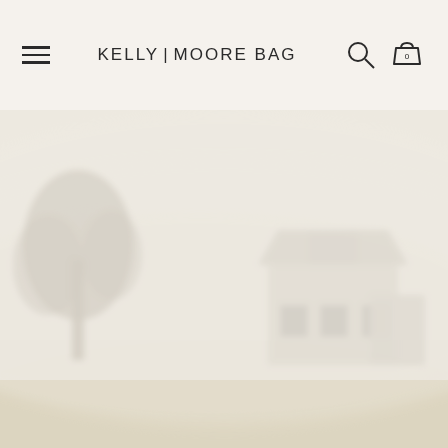KELLY | MOORE BAG
[Figure (photo): A misty, foggy rural landscape featuring a large white barn or farmhouse structure on the right side, with a tall leafy tree on the left. The scene is heavily diffused with morning fog, giving pale warm tones of cream, tan, and soft grey. Green grass and open field are visible in the foreground.]